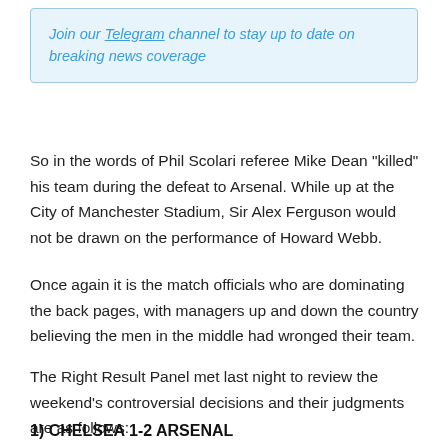Join our Telegram channel to stay up to date on breaking news coverage
So in the words of Phil Scolari referee Mike Dean “killed” his team during the defeat to Arsenal. While up at the City of Manchester Stadium, Sir Alex Ferguson would not be drawn on the performance of Howard Webb.
Once again it is the match officials who are dominating the back pages, with managers up and down the country believing the men in the middle had wronged their team.
The Right Result Panel met last night to review the weekend’s controversial decisions and their judgments are as follows:
1) CHELSEA 1-2 ARSENAL